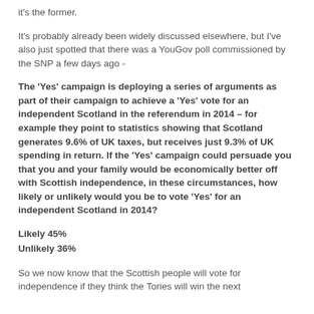it's the former.
It's probably already been widely discussed elsewhere, but I've also just spotted that there was a YouGov poll commissioned by the SNP a few days ago -
The 'Yes' campaign is deploying a series of arguments as part of their campaign to achieve a 'Yes' vote for an independent Scotland in the referendum in 2014 – for example they point to statistics showing that Scotland generates 9.6% of UK taxes, but receives just 9.3% of UK spending in return. If the 'Yes' campaign could persuade you that you and your family would be economically better off with Scottish independence, in these circumstances, how likely or unlikely would you be to vote 'Yes' for an independent Scotland in 2014?
Likely 45%
Unlikely 36%
So we now know that the Scottish people will vote for independence if they think the Tories will win the next